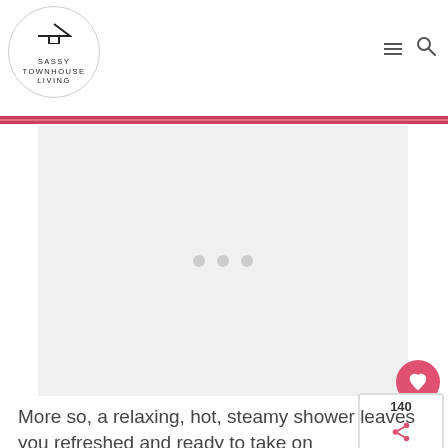SASSY TOWNHOUSE LIVING
[Figure (illustration): Loading placeholder image with three gray dots centered on a light gray background]
More so, a relaxing, hot, steamy shower leaves you refreshed and ready to take on